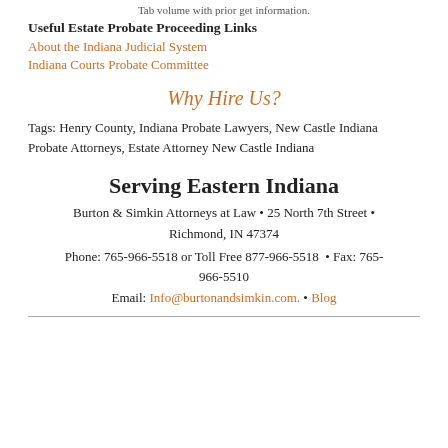Tab volume with prior get information.
Useful Estate Probate Proceeding Links
About the Indiana Judicial System
Indiana Courts Probate Committee
Why Hire Us?
Tags: Henry County, Indiana Probate Lawyers, New Castle Indiana Probate Attorneys, Estate Attorney New Castle Indiana
Serving Eastern Indiana
Burton & Simkin Attorneys at Law • 25 North 7th Street • Richmond, IN 47374
Phone: 765-966-5518 or Toll Free 877-966-5518  • Fax: 765-966-5510
Email: Info@burtonandsimkin.com.  • Blog